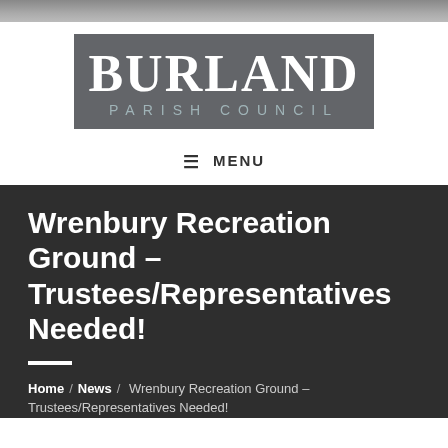[Figure (photo): Top strip showing a partial photograph, appears to be an outdoor scene]
[Figure (logo): Burland Parish Council logo — dark grey rectangle with 'BURLAND' in large white serif font and 'PARISH COUNCIL' in lighter spaced text below]
☰ MENU
Wrenbury Recreation Ground – Trustees/Representatives Needed!
Home / News / Wrenbury Recreation Ground – Trustees/Representatives Needed!